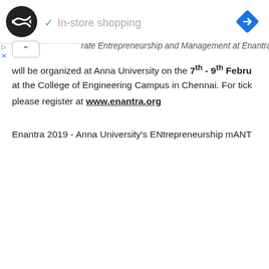[Figure (logo): Black circle logo with double-ended arrow symbol (Enantra logo)]
✓ In-store shopping
[Figure (illustration): Blue diamond navigation arrow icon]
rate Entrepreneurship and Management at Enantra
will be organized at Anna University on the 7th - 9th Febru at the College of Engineering Campus in Chennai. For tick please register at www.enantra.org
Enantra 2019 - Anna University's ENtrepreneurship mANT